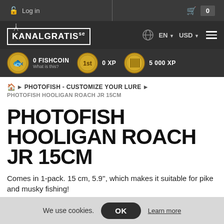Log in | Cart: 0
[Figure (logo): KANALGRATIS.se logo with TV antenna icon, language EN and currency USD selectors, hamburger menu]
0 FISHCOIN What is this? | 0 XP | 5 000 XP
PHOTOFISH - CUSTOMIZE YOUR LURE > PHOTOFISH HOOLIGAN ROACH JR 15CM
PHOTOFISH HOOLIGAN ROACH JR 15CM
Comes in 1-pack. 15 cm, 5.9'', which makes it suitable for pike and musky fishing!
We use cookies. OK Learn more